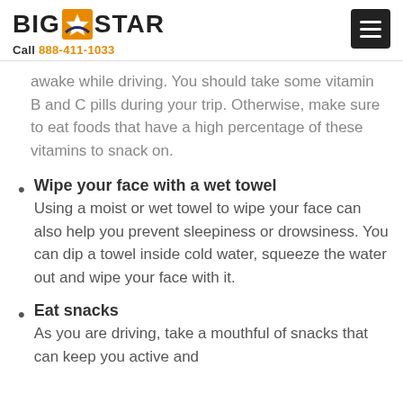BIG STAR | Call 888-411-1033
awake while driving. You should take some vitamin B and C pills during your trip. Otherwise, make sure to eat foods that have a high percentage of these vitamins to snack on.
Wipe your face with a wet towel
Using a moist or wet towel to wipe your face can also help you prevent sleepiness or drowsiness. You can dip a towel inside cold water, squeeze the water out and wipe your face with it.
Eat snacks
As you are driving, take a mouthful of snacks that can keep you active and